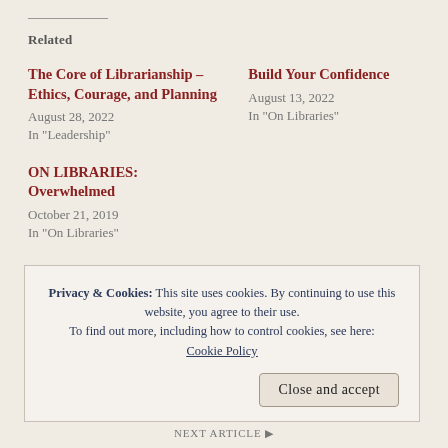Related
The Core of Librarianship – Ethics, Courage, and Planning
August 28, 2022
In "Leadership"
Build Your Confidence
August 13, 2022
In "On Libraries"
ON LIBRARIES: Overwhelmed
October 21, 2019
In "On Libraries"
Privacy & Cookies: This site uses cookies. By continuing to use this website, you agree to their use.
To find out more, including how to control cookies, see here:
Cookie Policy
Close and accept
NEXT ARTICLE ▶